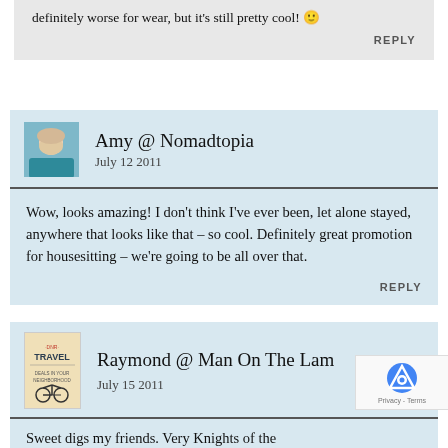definitely worse for wear, but it’s still pretty cool! 🙂
REPLY
Amy @ Nomadtopia
July 12 2011
Wow, looks amazing! I don’t think I’ve ever been, let alone stayed, anywhere that looks like that – so cool. Definitely great promotion for housesitting – we’re going to be all over that.
REPLY
Raymond @ Man On The Lam
July 15 2011
Sweet digs my friends. Very Knights of the